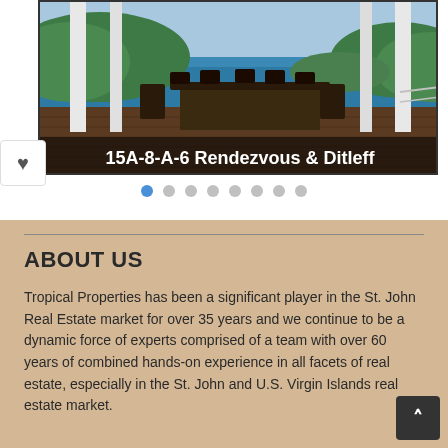[Figure (photo): Aerial/terrace view of tropical island real estate property with ocean and green hills in background, outdoor dining table on deck with white columns. Caption overlay reads '15A-8-A-6 Rendezvous & Ditleff']
15A-8-A-6 Rendezvous & Ditleff
ABOUT US
Tropical Properties has been a significant player in the St. John Real Estate market for over 35 years and we continue to be a dynamic force of experts comprised of a team with over 60 years of combined hands-on experience in all facets of real estate, especially in the St. John and U.S. Virgin Islands real estate market.